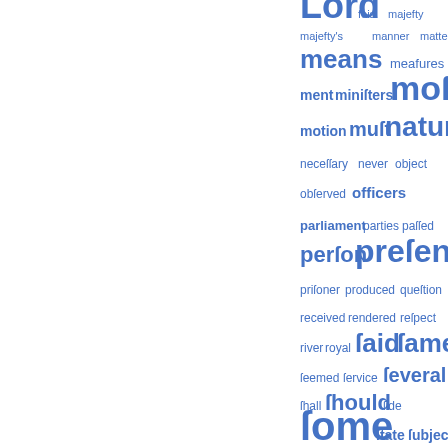[Figure (infographic): Word cloud showing historical/archaic English words in varying sizes and shades of blue, including: Lord, fois, majesty, majesty's, manner, matter, means, measures, ment, ministers, most, motion, must, nature, necessary, never, object, observed, officers, parliament, parties, passed, person, present, prisoner, produced, question, received, rendered, respect, river, royal, said, same, seemed, service, several, shall, should, side, some, state, subject, such, support, taken, themselves, these, thing, those, thought, tion]